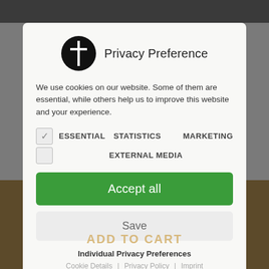[Figure (logo): Black circle logo with a T/cross symbol, next to the text 'Privacy Preference']
Privacy Preference
We use cookies on our website. Some of them are essential, while others help us to improve this website and your experience.
ESSENTIAL
STATISTICS
MARKETING
EXTERNAL MEDIA
Accept all
Save
Individual Privacy Preferences
Cookie Details | Privacy Policy | Imprint